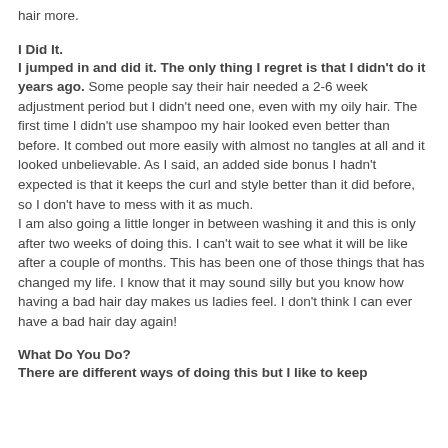hair more.
I Did It.
I jumped in and did it. The only thing I regret is that I didn't do it years ago. Some people say their hair needed a 2-6 week adjustment period but I didn't need one, even with my oily hair. The first time I didn't use shampoo my hair looked even better than before. It combed out more easily with almost no tangles at all and it looked unbelievable. As I said, an added side bonus I hadn't expected is that it keeps the curl and style better than it did before, so I don't have to mess with it as much.
I am also going a little longer in between washing it and this is only after two weeks of doing this. I can't wait to see what it will be like after a couple of months. This has been one of those things that has changed my life. I know that it may sound silly but you know how having a bad hair day makes us ladies feel. I don't think I can ever have a bad hair day again!
What Do You Do?
There are different ways of doing this but I like to keep